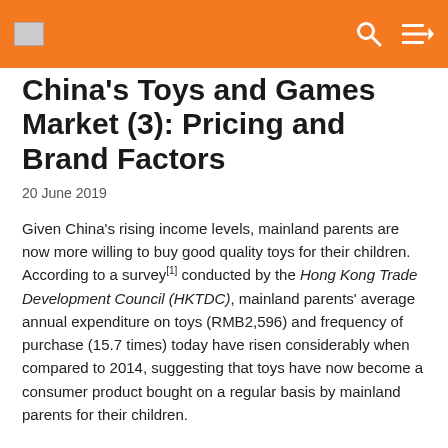China's Toys and Games Market (3): Pricing and Brand Factors
China's Toys and Games Market (3): Pricing and Brand Factors
20 June 2019
Given China’s rising income levels, mainland parents are now more willing to buy good quality toys for their children. According to a survey[1] conducted by the Hong Kong Trade Development Council (HKTDC), mainland parents’ average annual expenditure on toys (RMB2,596) and frequency of purchase (15.7 times) today have risen considerably when compared to 2014, suggesting that toys have now become a consumer product bought on a regular basis by mainland parents for their children.
Although mainland parents do not consider brand a major factor...